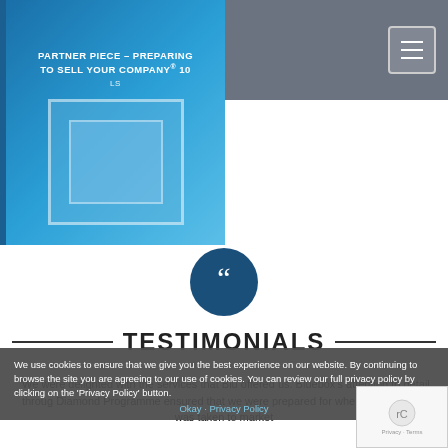[Figure (screenshot): Bluebox website header with logo and hamburger menu on a gray background, with a blue book/document image on the left showing text 'PARTNER PIECE – PREPARING TO SELL YOUR COMPANY® 10' and nested blue rectangles]
[Figure (illustration): Dark navy blue circle with white quotation marks inside, used as a testimonials section icon]
TESTIMONIALS
We use cookies to ensure that we give you the best experience on our website. By continuing to browse the site you are agreeing to our use of cookies. You can review our full privacy policy by clicking on the 'Privacy Policy' button.
Okay   Privacy Policy
"We were delighted with the services that Blu offered us. Bluebox's attention to detail through Diamond Programme ensured that we were prepared for when the business was taken to market